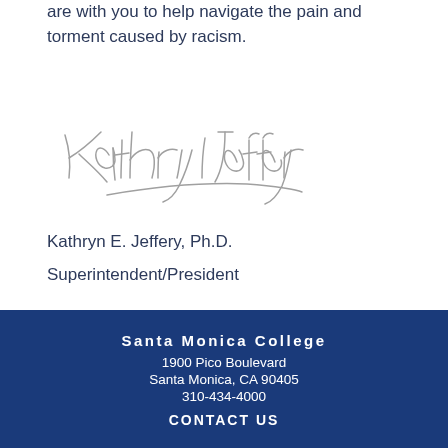are with you to help navigate the pain and torment caused by racism.
[Figure (illustration): Handwritten signature of Kathryn E. Jeffery]
Kathryn E. Jeffery, Ph.D.
Superintendent/President
Santa Monica College
1900 Pico Boulevard
Santa Monica, CA 90405
310-434-4000
CONTACT US